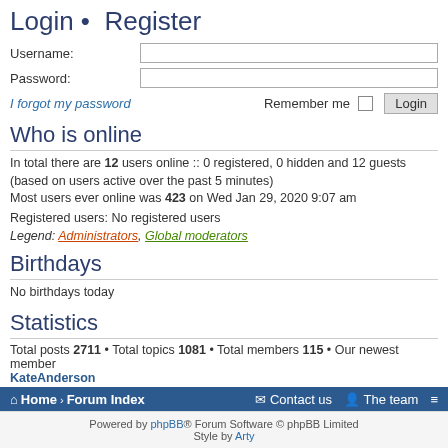Login • Register
Username:
Password:
I forgot my password    Remember me  Login
Who is online
In total there are 12 users online :: 0 registered, 0 hidden and 12 guests (based on users active over the past 5 minutes)
Most users ever online was 423 on Wed Jan 29, 2020 9:07 am
Registered users: No registered users
Legend: Administrators, Global moderators
Birthdays
No birthdays today
Statistics
Total posts 2711 • Total topics 1081 • Total members 115 • Our newest member KateAnderson
Home › Forum Index   Contact us   The team   ≡
Powered by phpBB® Forum Software © phpBB Limited  Style by Arty